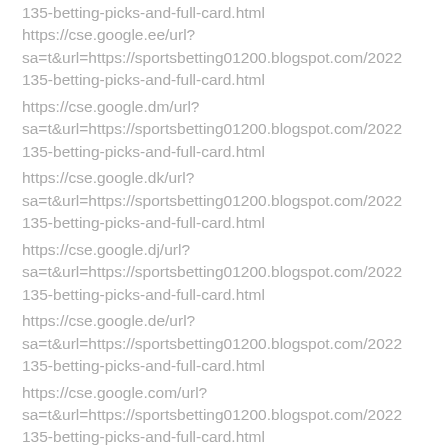135-betting-picks-and-full-card.html https://cse.google.ee/url?sa=t&url=https://sportsbetting01200.blogspot.com/2022 135-betting-picks-and-full-card.html
https://cse.google.dm/url?sa=t&url=https://sportsbetting01200.blogspot.com/2022 135-betting-picks-and-full-card.html
https://cse.google.dk/url?sa=t&url=https://sportsbetting01200.blogspot.com/2022 135-betting-picks-and-full-card.html
https://cse.google.dj/url?sa=t&url=https://sportsbetting01200.blogspot.com/2022 135-betting-picks-and-full-card.html
https://cse.google.de/url?sa=t&url=https://sportsbetting01200.blogspot.com/2022 135-betting-picks-and-full-card.html
https://cse.google.com/url?sa=t&url=https://sportsbetting01200.blogspot.com/2022 135-betting-picks-and-full-card.html
https://cse.google.com.vn/url?